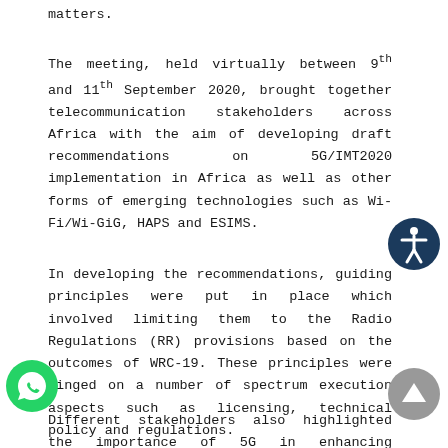matters.
The meeting, held virtually between 9th and 11th September 2020, brought together telecommunication stakeholders across Africa with the aim of developing draft recommendations on 5G/IMT2020 implementation in Africa as well as other forms of emerging technologies such as Wi-Fi/Wi-GiG, HAPS and ESIMS.
In developing the recommendations, guiding principles were put in place which involved limiting them to the Radio Regulations (RR) provisions based on the outcomes of WRC-19. These principles were hinged on a number of spectrum execution aspects such as licensing, technical policy and regulations.
Different stakeholders also highlighted the importance of 5G in enhancing connectivity in